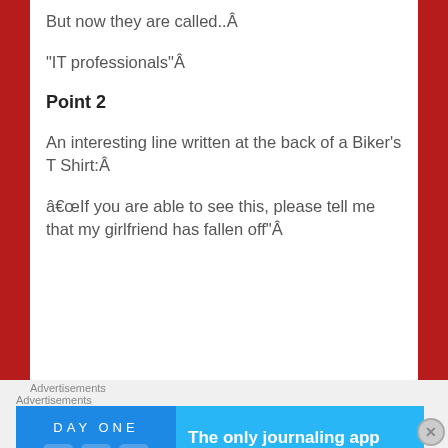But now they are called..Â
“IT professionals”Â
Point 2
An interesting line written at the back of a Biker’s T Shirt:Â
â€œIf you are able to see this, please tell me that my girlfriend has fallen off”Â
Advertisements
Advertisements
[Figure (other): Day One journaling app advertisement banner with blue background, app icons, and text 'The only journaling app you'll ever need.']